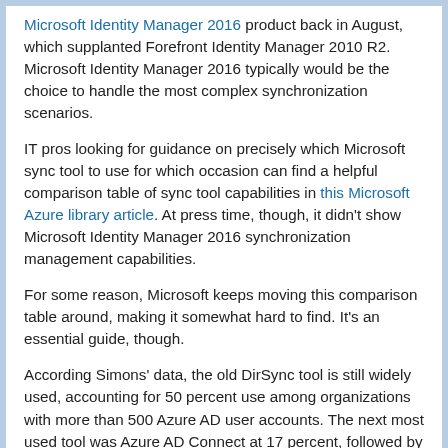Microsoft Identity Manager 2016 product back in August, which supplanted Forefront Identity Manager 2010 R2. Microsoft Identity Manager 2016 typically would be the choice to handle the most complex synchronization scenarios.
IT pros looking for guidance on precisely which Microsoft sync tool to use for which occasion can find a helpful comparison table of sync tool capabilities in this Microsoft Azure library article. At press time, though, it didn't show Microsoft Identity Manager 2016 synchronization management capabilities.
For some reason, Microsoft keeps moving this comparison table around, making it somewhat hard to find. It's an essential guide, though.
According Simons' data, the old DirSync tool is still widely used, accounting for 50 percent use among organizations with more than 500 Azure AD user accounts. The next most used tool was Azure AD Connect at 17 percent, followed by Azure AD Sync at 9 percent.
Microsoft also measured the use of third-party federation and identity tools. Those tools only accounted for about 4 percent use among the Azure AD authentications measured, per